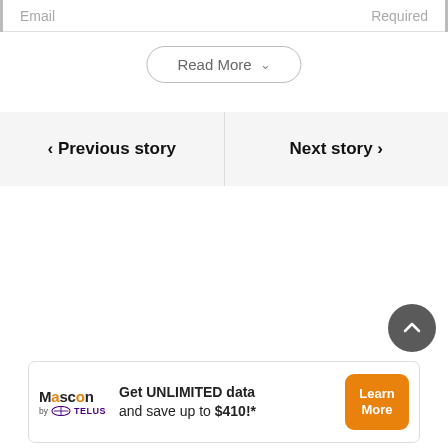Email | Required
Read More
< Previous story
Next story >
[Figure (other): Scroll-to-top circular button with upward chevron arrow]
[Figure (other): Mascon by TELUS advertisement banner: Get UNLIMITED data and save up to $410!* with Learn More button]